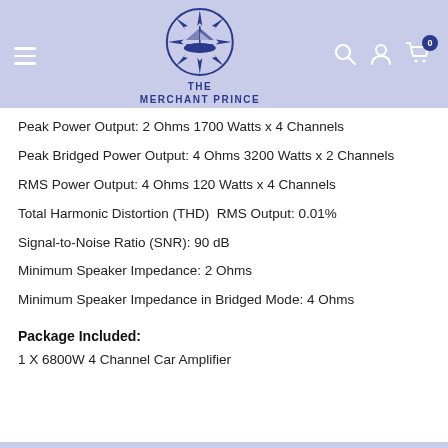The Merchant Prince — website header with logo, navigation hamburger, search, account, and cart icons
Peak Power Output: 2 Ohms 1700 Watts x 4 Channels
Peak Bridged Power Output: 4 Ohms 3200 Watts x 2 Channels
RMS Power Output: 4 Ohms 120 Watts x 4 Channels
Total Harmonic Distortion (THD)  RMS Output: 0.01%
Signal-to-Noise Ratio (SNR): 90 dB
Minimum Speaker Impedance: 2 Ohms
Minimum Speaker Impedance in Bridged Mode: 4 Ohms
Package Included:
1 X 6800W 4 Channel Car Amplifier